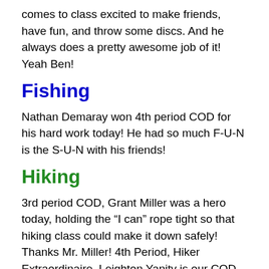comes to class excited to make friends, have fun, and throw some discs. And he always does a pretty awesome job of it! Yeah Ben!
Fishing
Nathan Demaray won 4th period COD for his hard work today! He had so much F-U-N is the S-U-N with his friends!
Hiking
3rd period COD, Grant Miller was a hero today, holding the “I can” rope tight so that hiking class could make it down safely! Thanks Mr. Miller! 4th Period, Hiker Extraordinaire, Leighton Yanity is our COD today! She brought the energy all week and we couldn’t be happier with her vibes and effort!